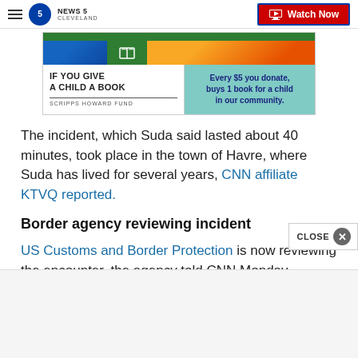NEWS 5 CLEVELAND | Watch Now
[Figure (illustration): Scripps Howard Fund 'If You Give a Child a Book' advertisement banner with green strip, photo strip, and teal right panel reading 'Every $5 you donate, buys 1 book for a child in our community.']
The incident, which Suda said lasted about 40 minutes, took place in the town of Havre, where Suda has lived for several years, CNN affiliate KTVQ reported.
Border agency reviewing incident
US Customs and Border Protection is now reviewing the encounter, the agency told CNN Monday.